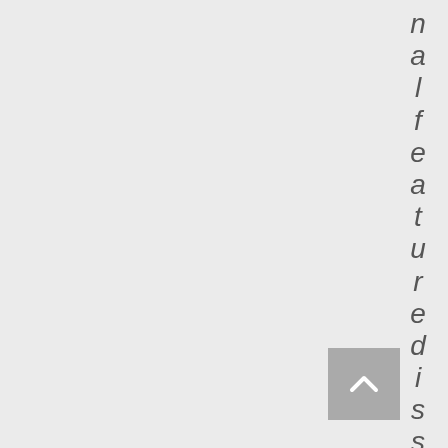nalfeaturedissu
[Figure (other): Scroll-to-top button with upward chevron arrow, gray background]